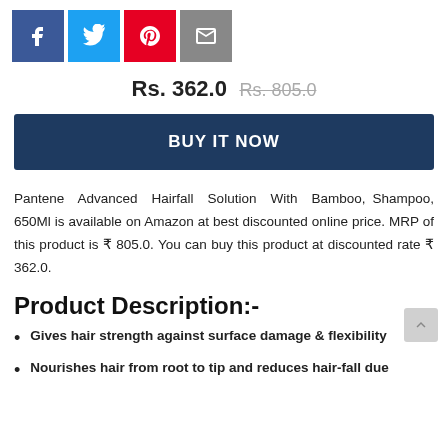[Figure (other): Social sharing icons: Facebook (blue), Twitter (light blue), Pinterest (red), Email (grey)]
Rs. 362.0 Rs. 805.0
BUY IT NOW
Pantene Advanced Hairfall Solution With Bamboo, Shampoo, 650Ml is available on Amazon at best discounted online price. MRP of this product is ₹ 805.0. You can buy this product at discounted rate ₹ 362.0.
Product Description:-
Gives hair strength against surface damage & flexibility
Nourishes hair from root to tip and reduces hair-fall due